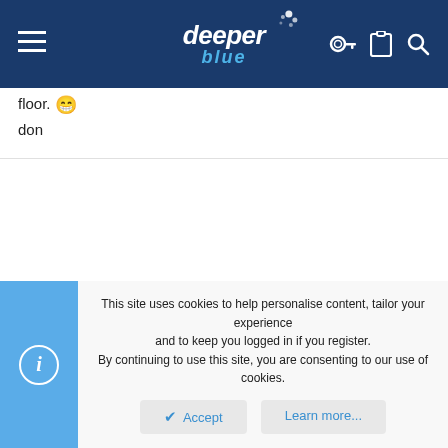[Figure (logo): DeeperBlue website header with hamburger menu, logo, and icons]
floor. 😁
don
This site uses cookies to help personalise content, tailor your experience and to keep you logged in if you register.
By continuing to use this site, you are consenting to our use of cookies.